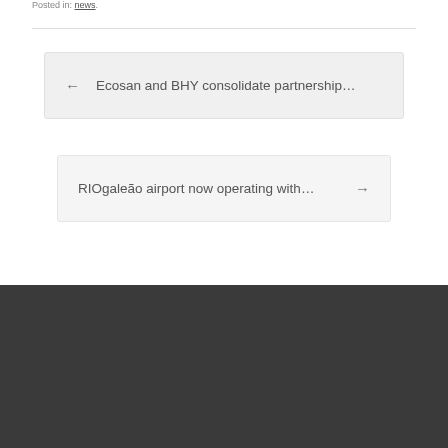Posted in: news.
← Ecosan and BHY consolidate partnership…
RIOgaleão airport now operating with… →
©2016 Ecosan
Fale conosco via Whatsapp
theme